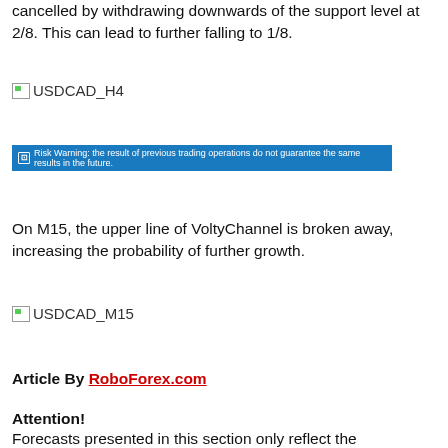cancelled by withdrawing downwards of the support level at 2/8. This can lead to further falling to 1/8.
[Figure (screenshot): USDCAD_H4 chart image placeholder]
[Figure (screenshot): Risk Warning: the result of previous trading operations do not guarantee the same results in the future.]
On M15, the upper line of VoltyChannel is broken away, increasing the probability of further growth.
[Figure (screenshot): USDCAD_M15 chart image placeholder]
Article By RoboForex.com
Attention!
Forecasts presented in this section only reflect the